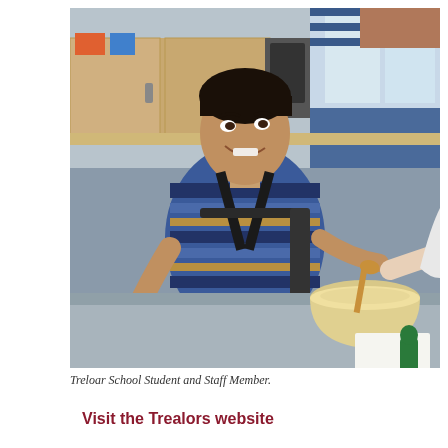[Figure (photo): A young man in a motorized wheelchair wearing a blue and black striped shirt with a harness, sitting at a table in what appears to be a school kitchen or food technology classroom. He is smiling and looking to his left. A staff member stands beside him, guiding his hand over a mixing bowl with a wooden spoon. Kitchen cabinets and appliances are visible in the background.]
Treloar School Student and Staff Member.
Visit the Trealors website